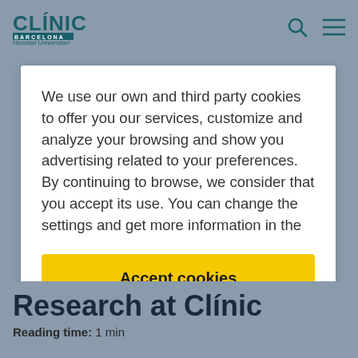[Figure (logo): Clínic Barcelona Hospital Universitari logo in teal/dark green]
We use our own and third party cookies to offer you our services, customize and analyze your browsing and show you advertising related to your preferences. By continuing to browse, we consider that you accept its use. You can change the settings and get more information in the
Accept cookies
Research at Clínic
Reading time: 1 min